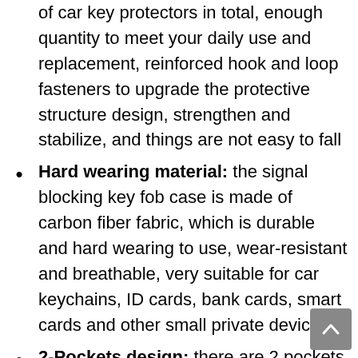of car key protectors in total, enough quantity to meet your daily use and replacement, reinforced hook and loop fasteners to upgrade the protective structure design, strengthen and stabilize, and things are not easy to fall
Hard wearing material: the signal blocking key fob case is made of carbon fiber fabric, which is durable and hard wearing to use, wear-resistant and breathable, very suitable for car keychains, ID cards, bank cards, smart cards and other small private devices
2-Pockets design: there are 2 pockets inside the key fob protector pouch, the humanized design can provide extra space for different items, for example, the front pocket is suitable for storing ID cards, driver's license, credit cards, etc, and the back pocket is equipped with an integrated keychain, which is most suitable for car